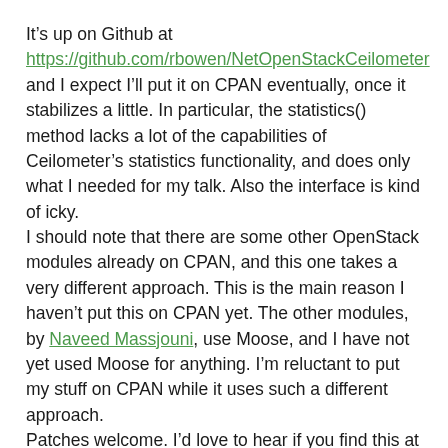It's up on Github at https://github.com/rbowen/NetOpenStackCeilometer and I expect I'll put it on CPAN eventually, once it stabilizes a little. In particular, the statistics() method lacks a lot of the capabilities of Ceilometer's statistics functionality, and does only what I needed for my talk. Also the interface is kind of icky.
I should note that there are some other OpenStack modules already on CPAN, and this one takes a very different approach. This is the main reason I haven't put this on CPAN yet. The other modules, by Naveed Massjouni, use Moose, and I have not yet used Moose for anything. I'm reluctant to put my stuff on CPAN while it uses such a different approach.
Patches welcome. I'd love to hear if you find this at all useful.
Come see me at Infrastructure.Next.